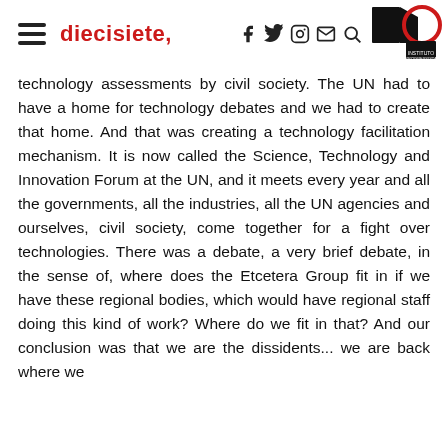diecisiete,
technology assessments by civil society. The UN had to have a home for technology debates and we had to create that home. And that was creating a technology facilitation mechanism. It is now called the Science, Technology and Innovation Forum at the UN, and it meets every year and all the governments, all the industries, all the UN agencies and ourselves, civil society, come together for a fight over technologies. There was a debate, a very brief debate, in the sense of, where does the Etcetera Group fit in if we have these regional bodies, which would have regional staff doing this kind of work? Where do we fit in that? And our conclusion was that we are the dissidents... we are back where we